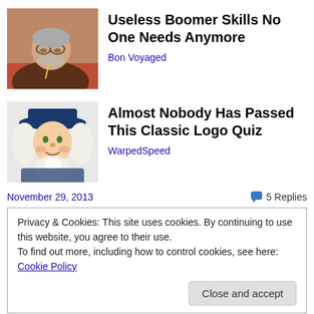[Figure (photo): Older man with glasses and grey beard looking down, wearing a brown jacket, seated at a table.]
Useless Boomer Skills No One Needs Anymore
Bon Voyaged
[Figure (illustration): Illustrated colonial-era figure wearing a dark blue hat and white wig, smiling.]
Almost Nobody Has Passed This Classic Logo Quiz
WarpedSpeed
November 29, 2013
💬 5 Replies
Privacy & Cookies: This site uses cookies. By continuing to use this website, you agree to their use.
To find out more, including how to control cookies, see here: Cookie Policy
Close and accept